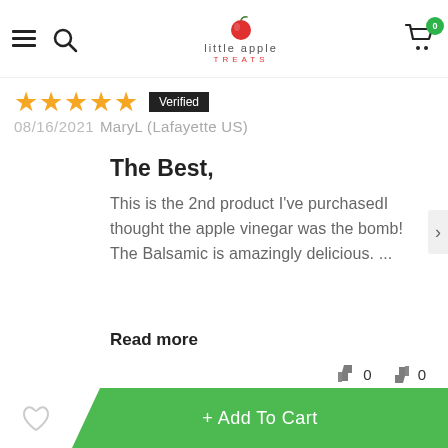[Figure (logo): Little Apple Treats logo with red apple icon, 'little apple' text and 'TREATS' subtitle]
[Figure (other): Hamburger menu icon and search icon on the left of header]
[Figure (other): Shopping cart icon with green badge showing 0]
★★★★★  Verified  08/16/2021  MaryL (Lafayette US)
The Best,
This is the 2nd product I've purchasedI thought the apple vinegar was the bomb! The Balsamic is amazingly delicious. ...
Read more
👍 0  👎 0
1  2  3  ›  »
+ Add To Cart